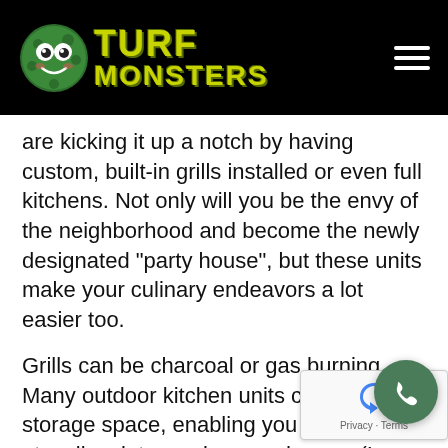[Figure (logo): Turf Monsters logo with green cartoon monster face on the left, yellow-green block letter text reading TURF MONSTERS on black background, hamburger menu icon top right]
are kicking it up a notch by having custom, built-in grills installed or even full kitchens. Not only will you be the envy of the neighborhood and become the newly designated “party house”, but these units make your culinary endeavors a lot easier too.
Grills can be charcoal or gas burning. Many outdoor kitchen units come with storage space, enabling you to store utensils, plates, spices, and more. (In other words, no more running back and forth between the house!) The counter surface lets you prep food outside too, and, if you want to go all out, you can even add a refrigerator or mini-fridge to the ensemble. Don’t forget some comfy